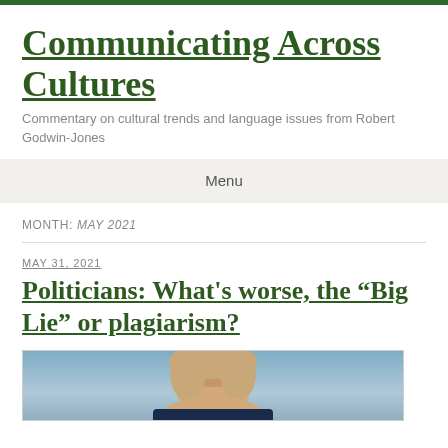Communicating Across Cultures
Commentary on cultural trends and language issues from Robert Godwin-Jones
Menu
MONTH: MAY 2021
MAY 31, 2021
Politicians: What’s worse, the “Big Lie” or plagiarism?
[Figure (photo): Portrait photo of a person with light hair against a blue-grey background]